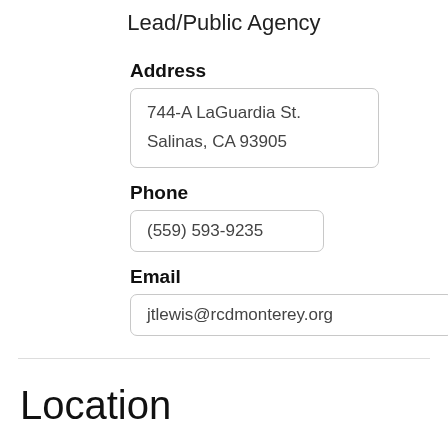Lead/Public Agency
Address
744-A LaGuardia St.
Salinas, CA 93905
Phone
(559) 593-9235
Email
jtlewis@rcdmonterey.org
Location